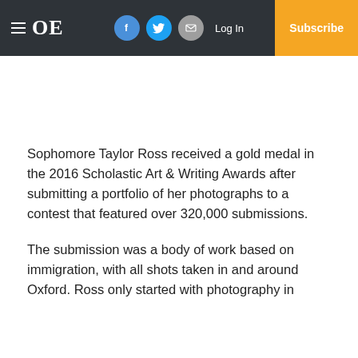OE — Log In | Subscribe (navigation bar with social icons)
Sophomore Taylor Ross received a gold medal in the 2016 Scholastic Art & Writing Awards after submitting a portfolio of her photographs to a contest that featured over 320,000 submissions.
The submission was a body of work based on immigration, with all shots taken in and around Oxford. Ross only started with photography in